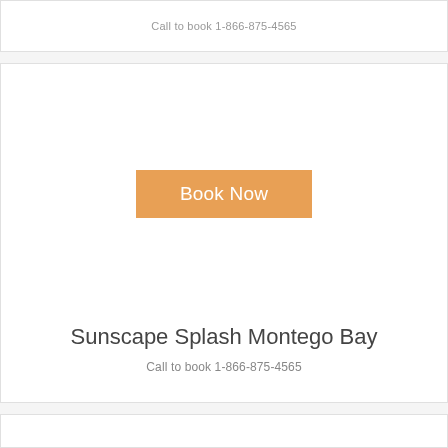Call to book 1-866-875-4565
[Figure (other): White card area with a Book Now button centered in the upper portion]
Sunscape Splash Montego Bay
Call to book 1-866-875-4565
[Figure (other): White card area at the bottom, partially visible]